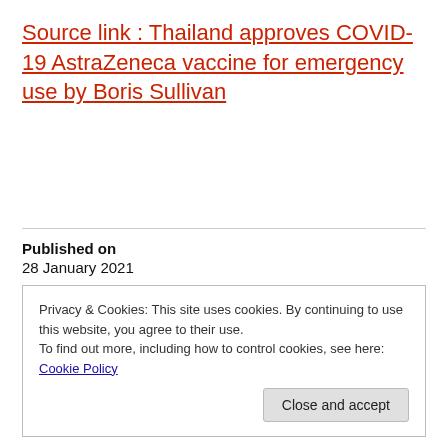Source link : Thailand approves COVID-19 AstraZeneca vaccine for emergency use by Boris Sullivan
Published on
28 January 2021
Privacy & Cookies: This site uses cookies. By continuing to use this website, you agree to their use.
To find out more, including how to control cookies, see here: Cookie Policy
Close and accept
Facebook   Twitter   Mail   LinkedIn
WhatsApp   Facebook Messenger